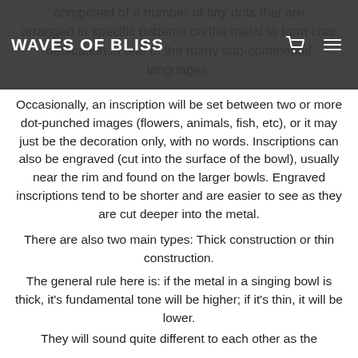WAVES OF BLISS
composed of a number of tiny dots that are arranged in specific patterns on the metal to form characters in the dedication in one of the many sub-continental languages.
Occasionally, an inscription will be set between two or more dot-punched images (flowers, animals, fish, etc), or it may just be the decoration only, with no words. Inscriptions can also be engraved (cut into the surface of the bowl), usually near the rim and found on the larger bowls. Engraved inscriptions tend to be shorter and are easier to see as they are cut deeper into the metal.
There are also two main types: Thick construction or thin construction.
The general rule here is: if the metal in a singing bowl is thick, it's fundamental tone will be higher; if it's thin, it will be lower.
They will sound quite different to each other as the